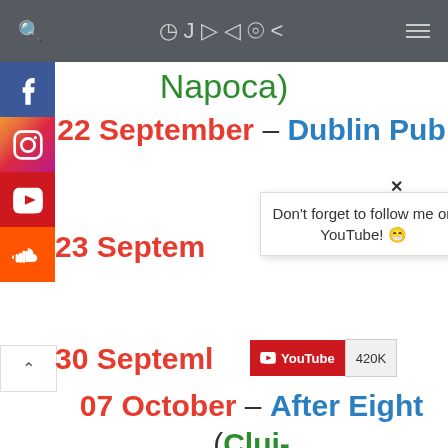DJ DARK
Napoca)
22 September – Dublin Pub
Don't forget to follow me on YouTube! 😁
23 Septem
30 Septeml
[Figure (other): YouTube subscribe button showing 420K subscribers]
07 October – After Eight (Cluj-Napoca)
14 October – Liquid The Club